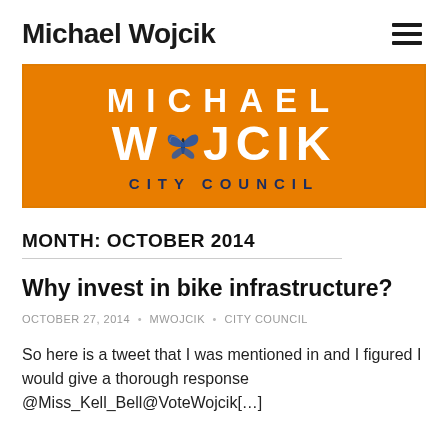Michael Wojcik
[Figure (logo): Michael Wojcik City Council campaign logo on orange background with butterfly replacing the 'O' in Wojcik]
MONTH: OCTOBER 2014
Why invest in bike infrastructure?
OCTOBER 27, 2014 • MWOJCIK • CITY COUNCIL
So here is a tweet that I was mentioned in and I figured I would give a thorough response @Miss_Kell_Bell@VoteWojcik[…]